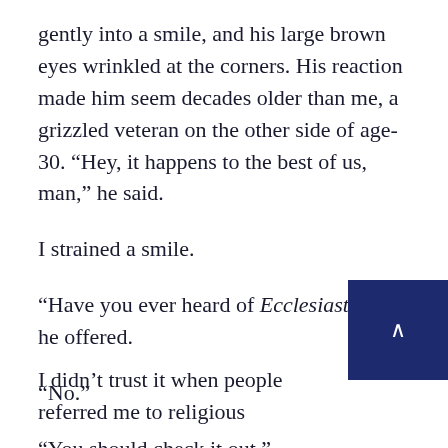gently into a smile, and his large brown eyes wrinkled at the corners. His reaction made him seem decades older than me, a grizzled veteran on the other side of age-30. “Hey, it happens to the best of us, man,” he said.
I strained a smile.
“Have you ever heard of Ecclesiastes?” he offered.
“No.”
“You should check it out.”
“Why?”
[Figure (other): Dark navy blue square button with a caret/up-arrow symbol in white, positioned at bottom right of page]
I didn’t trust it when people referred me to religious